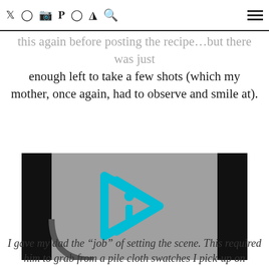photography | worst case scenario, I would have to make this again before posting the recipe
enough left to take a few shots (which my mother, once again, had to observe and smile at).
[Figure (screenshot): Video player placeholder image with a cyan/turquoise play button icon on a gray background with black side panels.]
I gave my dad the “job” of setting the scene. This required him to grab from a pile cloth swatches I pick-up on